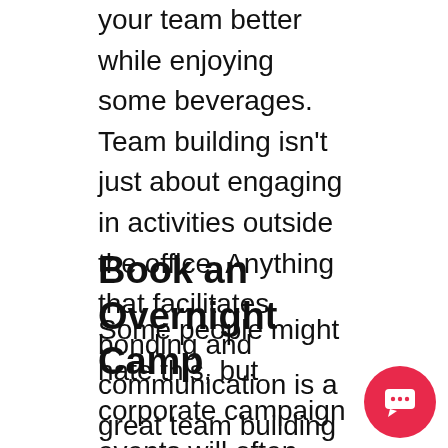your team better while enjoying some beverages. Team building isn't just about engaging in activities outside the office. Anything that facilitates bonding and communication is a great team building activity. Bonding over drinks can build a strong foundation of trust. Nowhere can people feel free to open up and know each other better than having a drink together.
Book an Overnight Camp
Some people might hate this, but corporate campaign events will often have a lot of these other elements listed. There are plenty of camp-style retreat options where companies can go with their workforce and spend a day or more to bond over fun camp activities.